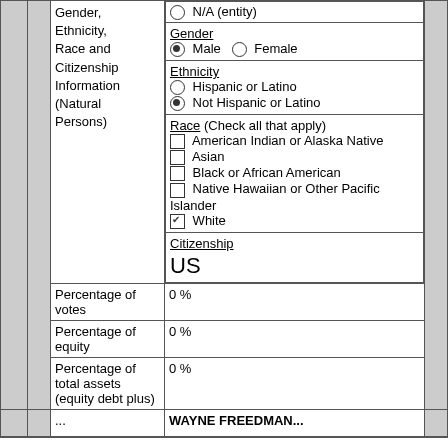| (gray) | Gender, Ethnicity, Race and Citizenship Information (Natural Persons) | Gender: Male (selected) / Female
Ethnicity: Hispanic or Latino / Not Hispanic or Latino (selected)
Race (Check all that apply): American Indian or Alaska Native / Asian / Black or African American / Native Hawaiian or Other Pacific Islander / White (checked)
Citizenship: US | (gray) |
| (gray) | Percentage of votes | 0 % | (gray) |
| (gray) | Percentage of equity | 0 % | (gray) |
| (gray) | Percentage of total assets (equity debt plus) | 0 % | (gray) |
| (gray) | ... | WAYNE FREEDMAN... | (gray) |